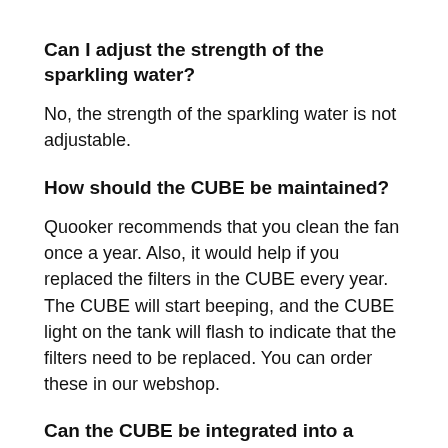Can I adjust the strength of the sparkling water?
No, the strength of the sparkling water is not adjustable.
How should the CUBE be maintained?
Quooker recommends that you clean the fan once a year. Also, it would help if you replaced the filters in the CUBE every year. The CUBE will start beeping, and the CUBE light on the tank will flash to indicate that the filters need to be replaced. You can order these in our webshop.
Can the CUBE be integrated into a